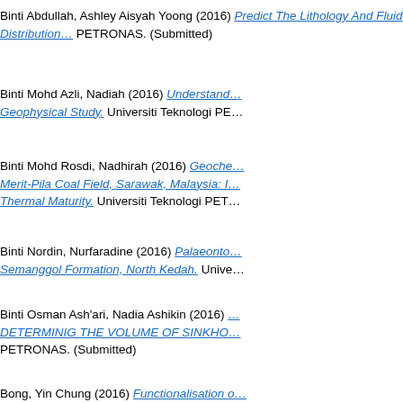Binti Abdullah, Ashley Aisyah Yoong (2016) Predict The Lithology And Fluid Distribution… PETRONAS. (Submitted)
Binti Mohd Azli, Nadiah (2016) Understand… Geophysical Study. Universiti Teknologi PE…
Binti Mohd Rosdi, Nadhirah (2016) Geoche… Merit-Pila Coal Field, Sarawak, Malaysia: I… Thermal Maturity. Universiti Teknologi PET…
Binti Nordin, Nurfaradine (2016) Palaeonto… Semanggol Formation, North Kedah. Unive…
Binti Osman Ash'ari, Nadia Ashikin (2016) DETERMINIG THE VOLUME OF SINKHO… PETRONAS. (Submitted)
Bong, Yin Chung (2016) Functionalisation o… Matrix Membrane. Universiti Teknologi PET…
Boon, Tan Han (2016) CFD Comparative S… Canard Aerodynamic Flying Bodies. IRC, U…
Boon Hong, Philip Goh (2016) RHU 3D SE… UNIVERSITI…